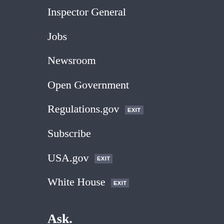Inspector General
Jobs
Newsroom
Open Government
Regulations.gov EXIT
Subscribe
USA.gov EXIT
White House EXIT
Ask.
Contact EPA
EPA Disclaimers
Hotlines